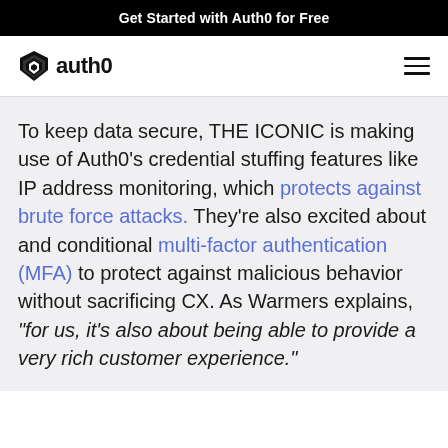Get Started with Auth0 for Free
[Figure (logo): Auth0 logo with shield star icon and 'auth0' wordmark, plus hamburger menu icon]
To keep data secure, THE ICONIC is making use of Auth0’s credential stuffing features like IP address monitoring, which protects against brute force attacks. They’re also excited about and conditional multi-factor authentication (MFA) to protect against malicious behavior without sacrificing CX. As Warmers explains, “for us, it’s also about being able to provide a very rich customer experience.”